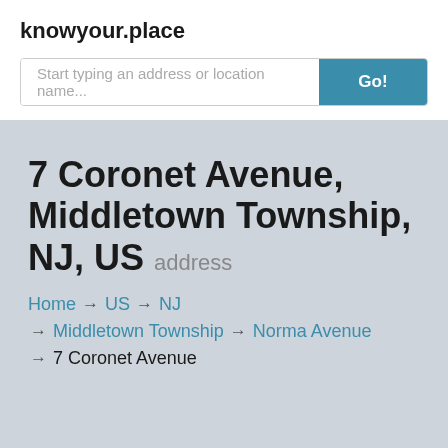knowyour.place
Start typing an address or location name...
7 Coronet Avenue, Middletown Township, NJ, US address
Home → US → NJ → Middletown Township → Norma Avenue → 7 Coronet Avenue